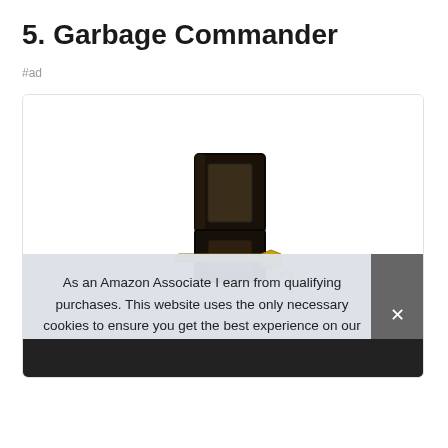5. Garbage Commander
#ad
[Figure (photo): Product photo of a black metal hitch lock/receiver with a gold bolt, shown against a white background inside a card with rounded border. A partially visible product image appears at the bottom.]
As an Amazon Associate I earn from qualifying purchases. This website uses the only necessary cookies to ensure you get the best experience on our website. More information